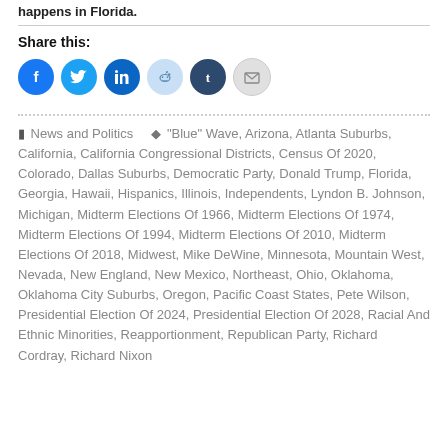happens in Florida.
Share this:
[Figure (other): Row of social media share buttons: Facebook (blue circle), Twitter (cyan circle), LinkedIn (dark blue circle), Reddit (light blue circle), Tumblr (dark navy circle), Email (grey circle)]
News and Politics   "Blue" Wave, Arizona, Atlanta Suburbs, California, California Congressional Districts, Census Of 2020, Colorado, Dallas Suburbs, Democratic Party, Donald Trump, Florida, Georgia, Hawaii, Hispanics, Illinois, Independents, Lyndon B. Johnson, Michigan, Midterm Elections Of 1966, Midterm Elections Of 1974, Midterm Elections Of 1994, Midterm Elections Of 2010, Midterm Elections Of 2018, Midwest, Mike DeWine, Minnesota, Mountain West, Nevada, New England, New Mexico, Northeast, Ohio, Oklahoma, Oklahoma City Suburbs, Oregon, Pacific Coast States, Pete Wilson, Presidential Election Of 2024, Presidential Election Of 2028, Racial And Ethnic Minorities, Reapportionment, Republican Party, Richard Cordray, Richard Nixon